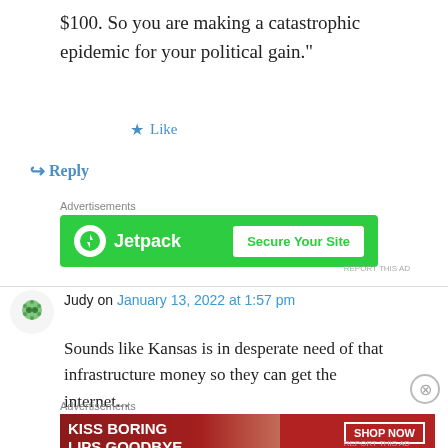$100. So you are making a catastrophic epidemic for your political gain."
★ Like
↪ Reply
Advertisements
[Figure (screenshot): Jetpack advertisement banner with green background. Shows Jetpack logo and 'Secure Your Site' button.]
REPORT THIS AD
Judy on January 13, 2022 at 1:57 pm
Sounds like Kansas is in desperate need of that infrastructure money so they can get the internet...
Advertisements
[Figure (screenshot): Macy's advertisement banner with red background. Shows 'KISS BORING LIPS GOODBYE' text with a woman's face and 'SHOP NOW' button with Macy's star logo.]
REPORT THIS AD